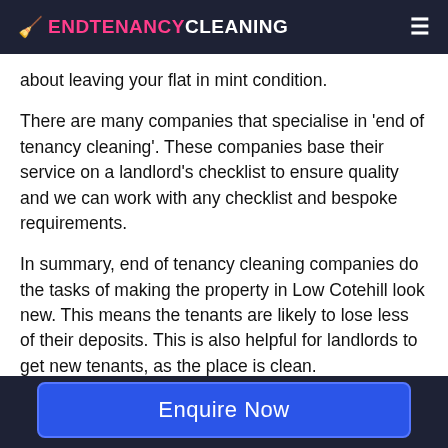🧹 ENDTENANCYCLEANING
about leaving your flat in mint condition.
There are many companies that specialise in 'end of tenancy cleaning'. These companies base their service on a landlord's checklist to ensure quality and we can work with any checklist and bespoke requirements.
In summary, end of tenancy cleaning companies do the tasks of making the property in Low Cotehill look new. This means the tenants are likely to lose less of their deposits. This is also helpful for landlords to get new tenants, as the place is clean.
Enquire Now